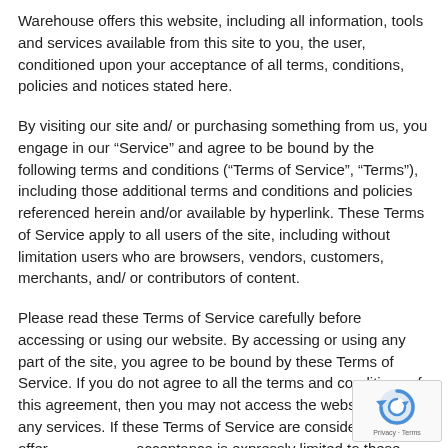Warehouse offers this website, including all information, tools and services available from this site to you, the user, conditioned upon your acceptance of all terms, conditions, policies and notices stated here.
By visiting our site and/ or purchasing something from us, you engage in our “Service” and agree to be bound by the following terms and conditions (“Terms of Service”, “Terms”), including those additional terms and conditions and policies referenced herein and/or available by hyperlink. These Terms of Service apply to all users of the site, including without limitation users who are browsers, vendors, customers, merchants, and/ or contributors of content.
Please read these Terms of Service carefully before accessing or using our website. By accessing or using any part of the site, you agree to be bound by these Terms of Service. If you do not agree to all the terms and conditions of this agreement, then you may not access the website or use any services. If these Terms of Service are considered an offer, acceptance is expressly limited to these Terms of Service.
[Figure (logo): reCAPTCHA badge with Privacy and Terms text]